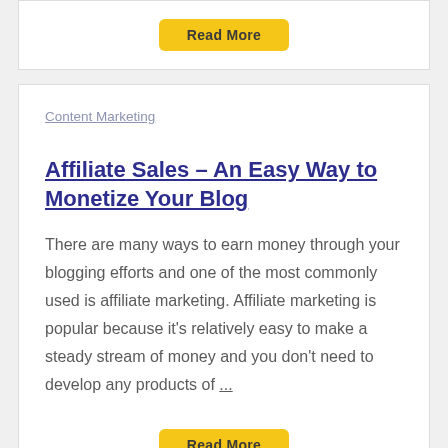Read More
Content Marketing
Affiliate Sales – An Easy Way to Monetize Your Blog
There are many ways to earn money through your blogging efforts and one of the most commonly used is affiliate marketing. Affiliate marketing is popular because it's relatively easy to make a steady stream of money and you don't need to develop any products of ...
Read More